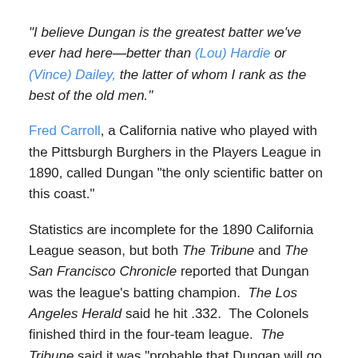“I believe Dungan is the greatest batter we’ve ever had here—better than (Lou) Hardie or (Vince) Dailey, the latter of whom I rank as the best of the old men.”
Fred Carroll, a California native who played with the Pittsburgh Burghers in the Players League in 1890, called Dungan “the only scientific batter on this coast.”
Statistics are incomplete for the 1890 California League season, but both The Tribune and The San Francisco Chronicle reported that Dungan was the league’s batting champion.  The Los Angeles Herald said he hit .332.  The Colonels finished third in the four-team league.  The Tribune said it was “probable that Dungan will go East.”
He was first rumored to be heading to be heading to the Washington Statesmen in the American Association but